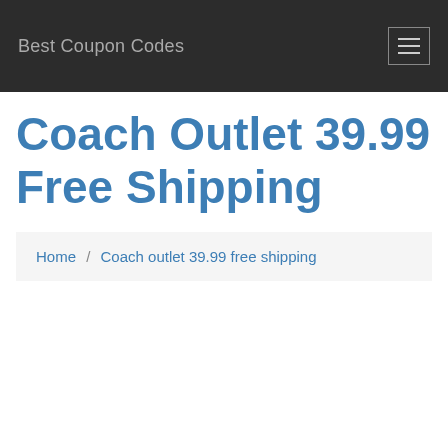Best Coupon Codes
Coach Outlet 39.99 Free Shipping
Home / Coach outlet 39.99 free shipping